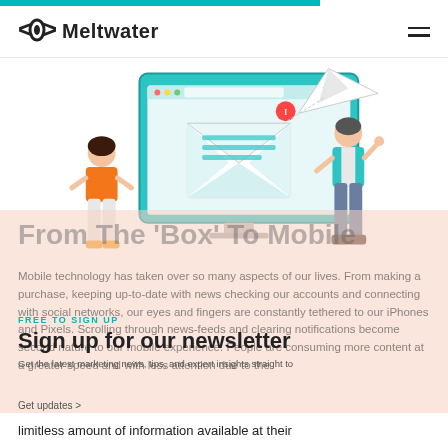Meltwater
[Figure (illustration): Illustration of a laptop/monitor showing an email envelope with a notification badge, with paper plane flying out. Two illustrated people stand on either side - a woman in orange top and white pants on the left, a man in teal jacket on the right. Background is a salmon/pink block.]
From The 'Box' To Mobile
Mobile technology has taken over so many aspects of our lives. From making a purchase, keeping up-to-date with news checking our accounts and connecting with social networks, our eyes and fingers are constantly tethered to our iPhones and Pixels. Scrolling through news-feeds and clearing notifications become second nature to our mobile experience. People are consuming more content at a greater speed and with less attention due to the limitless amount of information available at their
FREE TO SIGN UP
Sign up for our newsletter
Get the latest marketing news, tips, and expert insights straight to